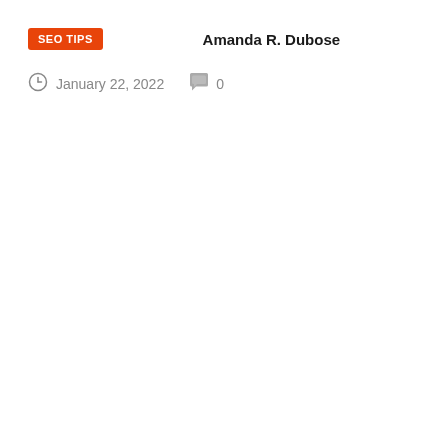SEO TIPS   Amanda R. Dubose
January 22, 2022   0